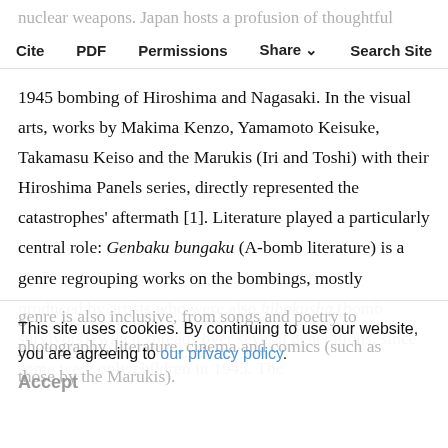nuclear weapons. Japan hosts a profusion of thoughtful artworks, some produced by direct witnesses of the | Cite  PDF  Permissions  Share  Search Site
1945 bombing of Hiroshima and Nagasaki. In the visual arts, works by Makima Kenzo, Yamamoto Keisuke, Takamasu Keiso and the Marukis (Iri and Toshi) with their Hiroshima Panels series, directly represented the catastrophes' aftermath [1]. Literature played a particularly central role: Genbaku bungaku (A-bomb literature) is a genre regrouping works on the bombings, mostly produced by artists who were also hibakusha (bomb survivors), which spreads over several generations, since some were only children in 1945. The
genre is also inclusive, from songs and poetry to photography, literature, cinema and comics (such as those by the Marukis).
This site uses cookies. By continuing to use our website, you are agreeing to our privacy policy.
Accept